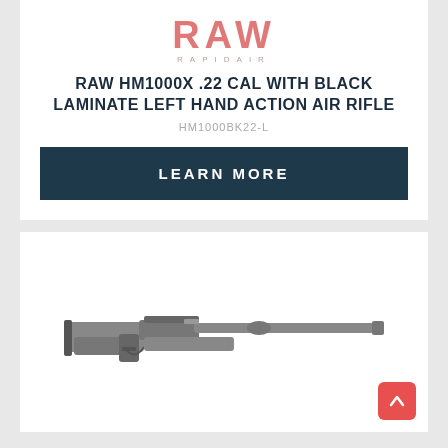[Figure (logo): RAW RapidAir logo in pink/red serif font with RAPIDAIR subtitle]
RAW HM1000X .22 CAL WITH BLACK LAMINATE LEFT HAND ACTION AIR RIFLE
HM1000BK22-L
LEARN MORE
[Figure (photo): RAW HM1000X air rifle with black laminate stock shown in side profile]